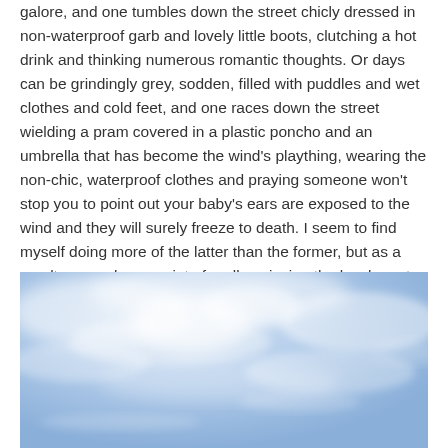galore, and one tumbles down the street chicly dressed in non-waterproof garb and lovely little boots, clutching a hot drink and thinking numerous romantic thoughts. Or days can be grindingly grey, sodden, filled with puddles and wet clothes and cold feet, and one races down the street wielding a pram covered in a plastic poncho and an umbrella that has become the wind's plaything, wearing the non-chic, waterproof clothes and praying someone won't stop you to point out your baby's ears are exposed to the wind and they will surely freeze to death. I seem to find myself doing more of the latter than the former, but as a result one makes a point of really enjoying the lovely parts of Autumn; pumpkin soup and collecting chestnuts and realising every second tree is an apple tree and there are few lovelier sights than a tree covered in blushing apples.
[Figure (photo): A blue sky with wispy white clouds, giving a soft, hazy atmospheric appearance.]